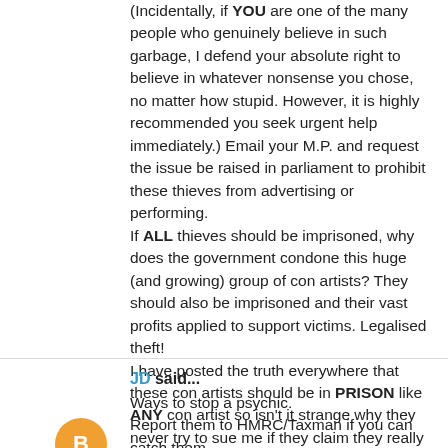(Incidentally, if YOU are one of the many people who genuinely believe in such garbage, I defend your absolute right to believe in whatever nonsense you chose, no matter how stupid. However, it is highly recommended you seek urgent help immediately.) Email your M.P. and request the issue be raised in parliament to prohibit these thieves from advertising or performing. If ALL thieves should be imprisoned, why does the government condone this huge (and growing) group of con artists? They should also be imprisoned and their vast profits applied to support victims. Legalised theft! I have posted the truth everywhere that these con artists should be in PRISON like ANY con artist so isn't it strange why they never try to sue me if they claim they really possess such a supernatural skill ? !
23 September 2014 at 19:12
JD said...
Ways to stop a psychic.
Report them to HMRC/Taxman if you can catch them